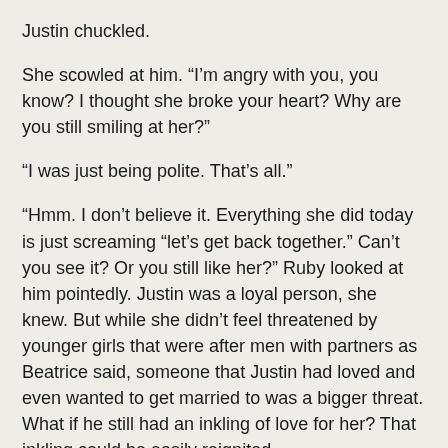Justin chuckled.
She scowled at him. “I’m angry with you, you know? I thought she broke your heart? Why are you still smiling at her?”
“I was just being polite. That’s all.”
“Hmm. I don’t believe it. Everything she did today is just screaming “let’s get back together.” Can’t you see it? Or you still like her?” Ruby looked at him pointedly. Justin was a loyal person, she knew. But while she didn’t feel threatened by younger girls that were after men with partners as Beatrice said, someone that Justin had loved and even wanted to get married to was a bigger threat. What if he still had an inkling of love for her? That inkling could be easily reignited.
“Like who?” Justin returned her look with one of surprise. “What we had ended ages ago. I totally forgot about